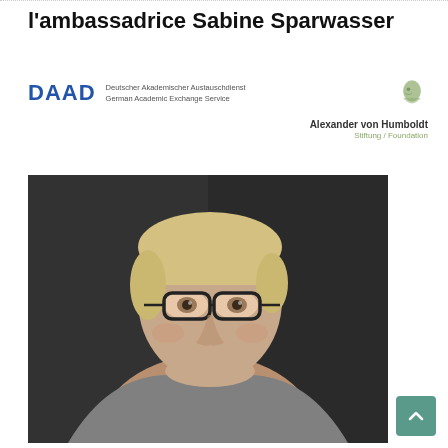l'ambassadrice Sabine Sparwasser
[Figure (logo): DAAD logo with text: Deutscher Akademischer Austauschdienst / German Academic Exchange Service]
[Figure (logo): Alexander von Humboldt Stiftung/Foundation logo with green profile icon]
[Figure (photo): Portrait photo of Sabine Sparwasser, a woman with short blonde hair and dark-rimmed glasses, wearing a colorful necklace and grey jacket, against a dark background]